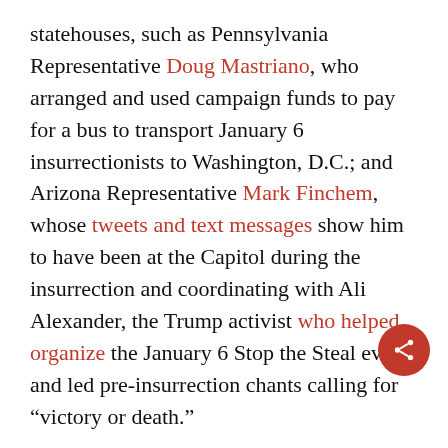statehouses, such as Pennsylvania Representative Doug Mastriano, who arranged and used campaign funds to pay for a bus to transport January 6 insurrectionists to Washington, D.C.; and Arizona Representative Mark Finchem, whose tweets and text messages show him to have been at the Capitol during the insurrection and coordinating with Ali Alexander, the Trump activist who helped organize the January 6 Stop the Steal events and led pre-insurrection chants calling for “victory or death.”
These figures interacted with many